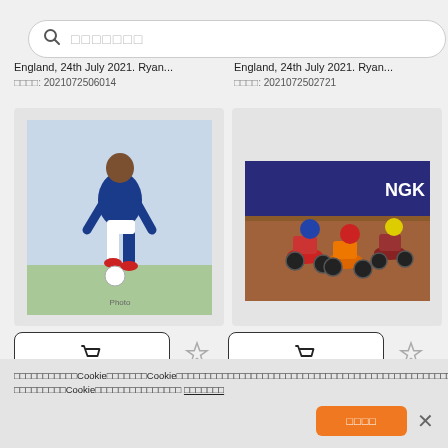[Figure (screenshot): Search bar with magnifying glass icon and placeholder text (squares representing CJK characters)]
England, 24th July 2021. Ryan...
图片编号: 2021072506014
England, 24th July 2021. Ryan...
图片编号: 2021072502721
[Figure (photo): Football player in blue Leicester City kit dribbling a ball on a pitch]
[Figure (photo): Speedway motorcycle racers on a dirt track, colorful helmets visible]
本网站使用Cookie来提供内容。Cookie帮助我们了解访客如何使用我们的网站，但您可以选择拒绝。如果您继续使用我们的网站，即表示您同意使用Cookie。  了解更多信息
接受所有